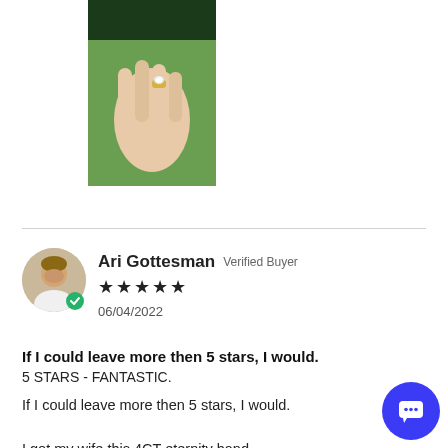[Figure (photo): A hand wearing a diamond ring on the finger, photographed outdoors.]
Ari Gottesman Verified Buyer
★★★★★
06/04/2022
If I could leave more then 5 stars, I would.
5 STARS - FANTASTIC.

If I could leave more then 5 stars, I would.

I got my wife this 4CT eternity band.

The diamonds are fire, the setting is so well done, A... service & communication from beginning to end was spectacular.